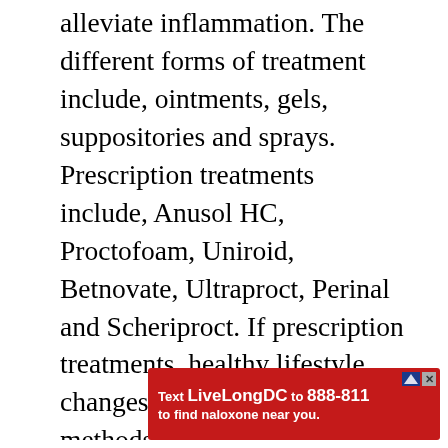alleviate inflammation. The different forms of treatment include, ointments, gels, suppositories and sprays. Prescription treatments include, Anusol HC, Proctofoam, Uniroid, Betnovate, Ultraproct, Perinal and Scheriproct. If prescription treatments, healthy lifestyle changes or other less intensive methods of treatment have not helped your condition, your may need to have a surgical procedure as last option.
Luckily there are a variety of haemorrhoid treatments that can give you relief as well as stop...
[Figure (other): Advertisement banner: 'Text LiveLongDC to 888-811 to find naloxone near you.' with a red background and close/advert icons.]